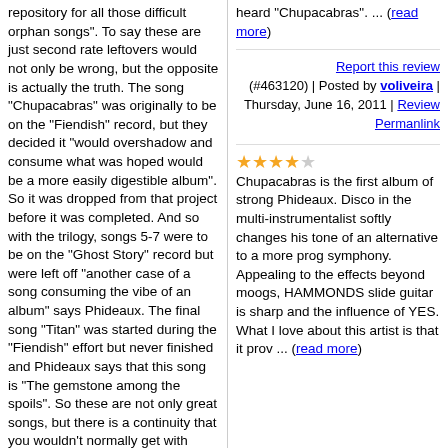repository for all those difficult orphan songs". To say these are just second rate leftovers would not only be wrong, but the opposite is actually the truth. The song "Chupacabras" was originally to be on the "Fiendish" record, but they decided it "would overshadow and consume what was hoped would be a more easily digestible album". So it was dropped from that project before it was completed. And so with the trilogy, songs 5-7 were to be on the "Ghost Story" record but were left off "another case of a song consuming the vibe of an album" says Phideaux. The final song "Titan" was started during the "Fiendish" effort but never finished and Phideaux says that this song is "The gemstone among the spoils". So these are not only great songs, but there is a continuity that you wouldn't normally get with such a project.
"Okay" is like an instrumental opening for "Chupacabras". The song "Titan" is a reprise to the song "Fortress of Sand'.
heard "Chupacabras". ... (read more)
Report this review (#463120) | Posted by voliveira | Thursday, June 16, 2011 | Review Permanlink
Chupacabras is the first album of strong Phideaux. Disco in the multi-instrumentalist softly changes his tone of an alternative to a more prog symphony. Appealing to the effects beyond moogs, HAMMONDS slide guitar is sharp and the influence of YES. What I love about this artist is that it prov ... (read more)